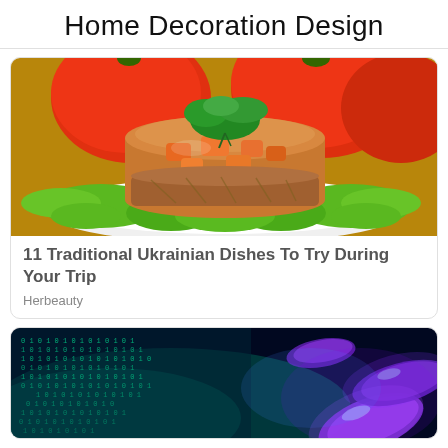Home Decoration Design
[Figure (photo): Photo of a traditional Ukrainian aspic/jelly dish (kholodets) with orange carrots inside, garnished with fresh herbs on top, served on green lettuce leaves on a white plate. Red tomatoes visible blurred in the background.]
11 Traditional Ukrainian Dishes To Try During Your Trip
Herbeauty
[Figure (photo): Digital illustration showing glowing blue and purple bacteria or microorganism shapes against a dark background with binary code (0s and 1s) overlay, suggesting biotechnology or medical science concept.]